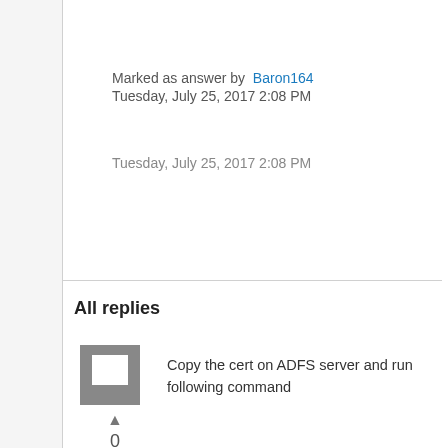Marked as answer by  Baron164
Tuesday, July 25, 2017 2:08 PM
Tuesday, July 25, 2017 2:08 PM
All replies
[Figure (illustration): Gray square avatar icon with a speech bubble/bookmark shape cut out in white]
▲
0
Sign in
to vote
Copy the cert on ADFS server and run following command